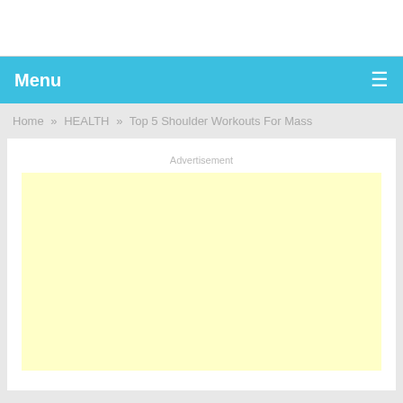Menu
Home » HEALTH » Top 5 Shoulder Workouts For Mass
Advertisement
[Figure (other): Yellow advertisement placeholder box]